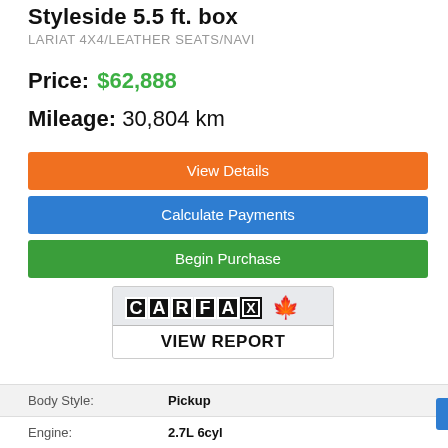Styleside 5.5 ft. box
LARIAT 4X4/LEATHER SEATS/NAVI
Price: $62,888
Mileage: 30,804 km
View Details
Calculate Payments
Begin Purchase
[Figure (logo): CARFAX Canada logo with maple leaf]
VIEW REPORT
| Body Style: | Pickup |
| Engine: | 2.7L 6cyl |
| Exterior Colour: | Red |
| VIN: | 1FTEW1EP3MFA64004 |